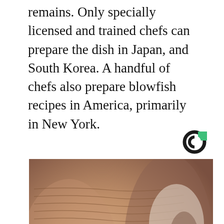remains. Only specially licensed and trained chefs can prepare the dish in Japan, and South Korea. A handful of chefs also prepare blowfish recipes in America, primarily in New York.
[Figure (logo): Circular C logo with green square accent, black and green colors]
[Figure (photo): Close-up photo of aged skin with deep wrinkles, showing textured facial skin with what appears to be a cream or mask applied]
Doctors Stunned: This Removes Wrinkles and